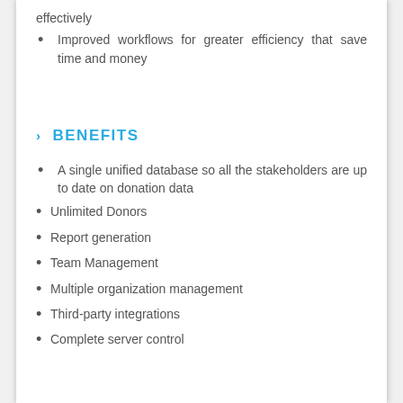effectively
Improved workflows for greater efficiency that save time and money
BENEFITS
A single unified database so all the stakeholders are up to date on donation data
Unlimited Donors
Report generation
Team Management
Multiple organization management
Third-party integrations
Complete server control